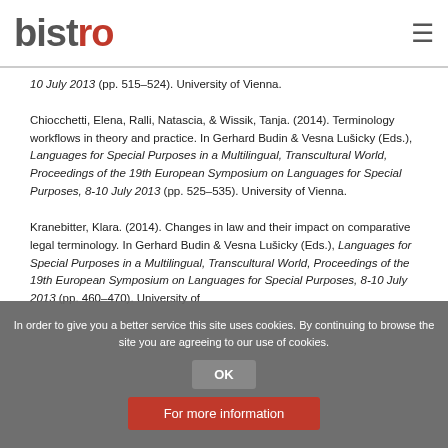bistro
10 July 2013 (pp. 515–524). University of Vienna.
Chiocchetti, Elena, Ralli, Natascia, & Wissik, Tanja. (2014). Terminology workflows in theory and practice. In Gerhard Budin & Vesna Lušicky (Eds.), Languages for Special Purposes in a Multilingual, Transcultural World, Proceedings of the 19th European Symposium on Languages for Special Purposes, 8-10 July 2013 (pp. 525–535). University of Vienna.
Kranebitter, Klara. (2014). Changes in law and their impact on comparative legal terminology. In Gerhard Budin & Vesna Lušicky (Eds.), Languages for Special Purposes in a Multilingual, Transcultural World, Proceedings of the 19th European Symposium on Languages for Special Purposes, 8-10 July 2013 (pp. 460–470). University of
In order to give you a better service this site uses cookies. By continuing to browse the site you are agreeing to our use of cookies.
OK
For more information